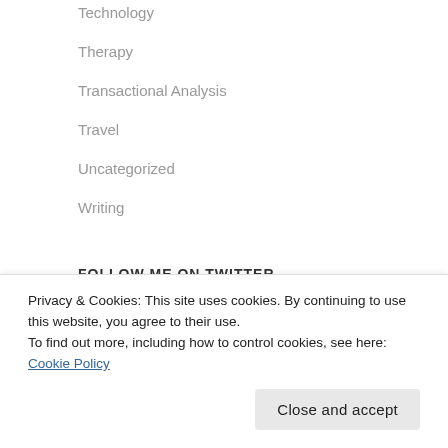Technology
Therapy
Transactional Analysis
Travel
Uncategorized
Writing
FOLLOW ME ON TWITTER
[Figure (other): Twitter embed widget showing 'Tweets from @...' heading]
Privacy & Cookies: This site uses cookies. By continuing to use this website, you agree to their use.
To find out more, including how to control cookies, see here: Cookie Policy
Close and accept